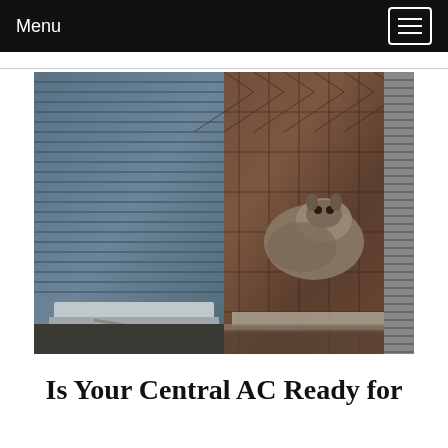Menu
[Figure (photo): Split image showing two outdoor AC unit condenser photos side by side. Left side shows close-up of AC condenser fins/grill with blue-gray metallic louvers. Right side shows an animal (appears to be a raccoon or opossum) wedged between a rooftop AC unit and a structure, on a shingled roof.]
Is Your Central AC Ready for